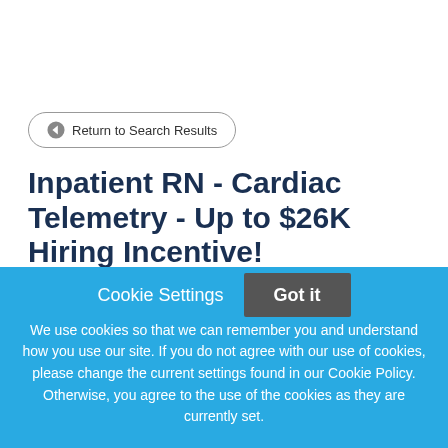← Return to Search Results
Inpatient RN - Cardiac Telemetry - Up to $26K Hiring Incentive!
Job SummaryAre you a RN looking to join our Geisinger
Cookie Settings
Got it
We use cookies so that we can remember you and understand how you use our site. If you do not agree with our use of cookies, please change the current settings found in our Cookie Policy. Otherwise, you agree to the use of the cookies as they are currently set.